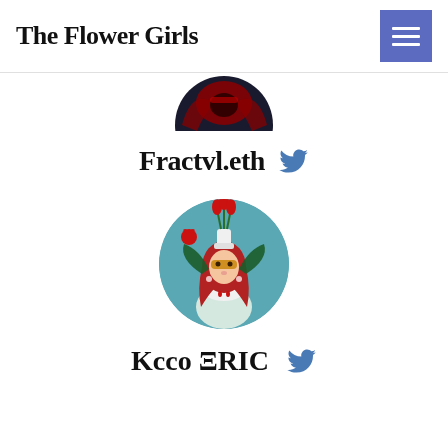The Flower Girls
[Figure (photo): Partial avatar image cropped at top — circular profile photo showing dark red/black graphic design, cut off at the bottom of the circle]
Fractvl.eth
[Figure (photo): Circular profile photo of a woman with red hair wearing a mask, with red tulips above her head on a teal background, butterfly wings on sides]
Kcco ΞRIC